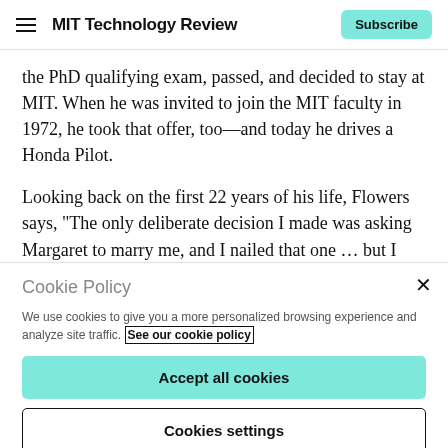MIT Technology Review  Subscribe
the PhD qualifying exam, passed, and decided to stay at MIT. When he was invited to join the MIT faculty in 1972, he took that offer, too—and today he drives a Honda Pilot.
Looking back on the first 22 years of his life, Flowers says, “The only deliberate decision I made was asking Margaret to marry me, and I nailed that one … but I think
Cookie Policy
We use cookies to give you a more personalized browsing experience and analyze site traffic. See our cookie policy
Accept all cookies
Cookies settings